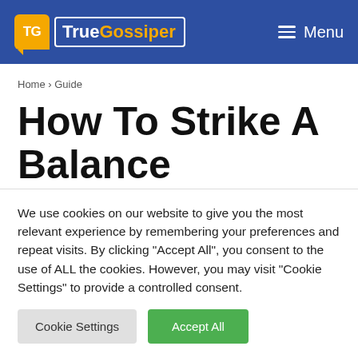TrueGossiper — Menu
Home › Guide
How To Strike A Balance Between Compliance And
We use cookies on our website to give you the most relevant experience by remembering your preferences and repeat visits. By clicking "Accept All", you consent to the use of ALL the cookies. However, you may visit "Cookie Settings" to provide a controlled consent.
Cookie Settings | Accept All